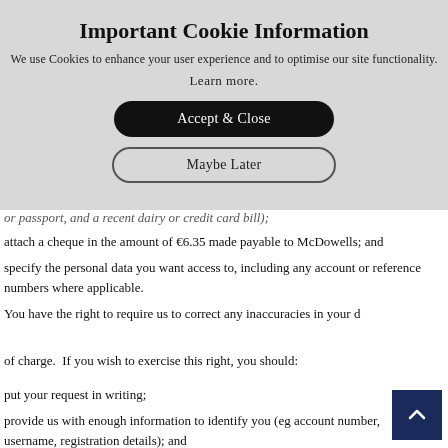Important Cookie Information
We use Cookies to enhance your user experience and to optimise our site functionality.
Learn more.
Accept & Close
Maybe Later
or passport, and a recent dairy or credit card bill);
attach a cheque in the amount of €6.35 made payable to McDowells; and
specify the personal data you want access to, including any account or reference numbers where applicable.
You have the right to require us to correct any inaccuracies in your data free of charge.  If you wish to exercise this right, you should:
put your request in writing;
provide us with enough information to identify you (eg account number, username, registration details); and